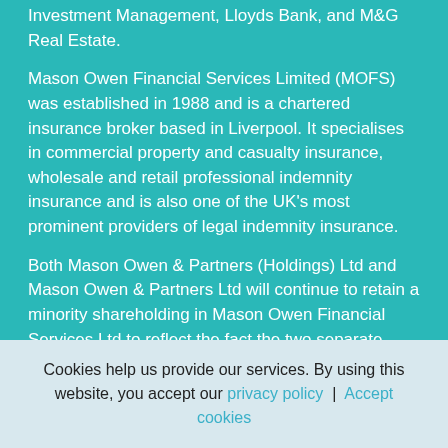Investment Management, Lloyds Bank, and M&G Real Estate.
Mason Owen Financial Services Limited (MOFS) was established in 1988 and is a chartered insurance broker based in Liverpool. It specialises in commercial property and casualty insurance, wholesale and retail professional indemnity insurance and is also one of the UK's most prominent providers of legal indemnity insurance.
Both Mason Owen & Partners (Holdings) Ltd and Mason Owen & Partners Ltd will continue to retain a minority shareholding in Mason Owen Financial Services Ltd to reflect the fact the two separate
Cookies help us provide our services. By using this website, you accept our privacy policy | Accept cookies